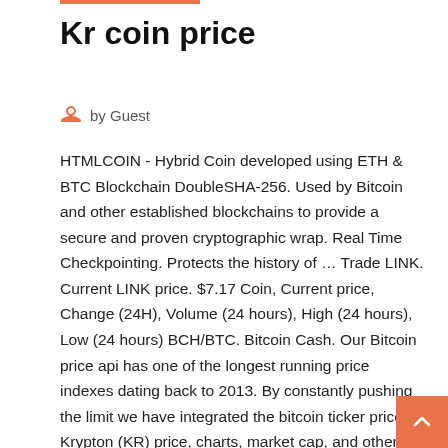Kr coin price
by Guest
HTMLCOIN - Hybrid Coin developed using ETH & BTC Blockchain DoubleSHA-256. Used by Bitcoin and other established blockchains to provide a secure and proven cryptographic wrap. Real Time Checkpointing. Protects the history of … Trade LINK. Current LINK price. $7.17 Coin, Current price, Change (24H), Volume (24 hours), High (24 hours), Low (24 hours) BCH/BTC. Bitcoin Cash. Our Bitcoin price api has one of the longest running price indexes dating back to 2013. By constantly pushing the limit we have integrated the bitcoin ticker price  Krypton (KR) price, charts, market cap, and other metrics … Get Krypton price, charts, and other cryptocurrency info CoinMarketCap and Binance have just announced an acquisition. 🔒 Read the open letter from our founder and our CEO here. Let the truth be told! 🔒 On a scale of 1-10, how experienced are you in crypto? Bitcoin price, charts, market cap,